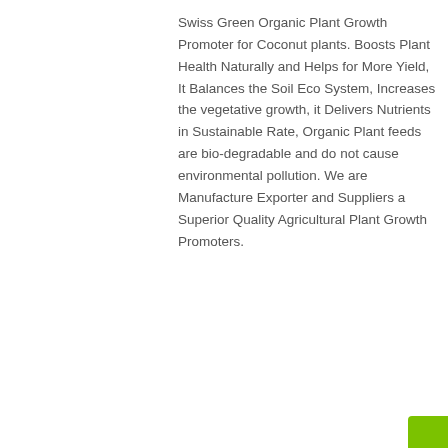Swiss Green Organic Plant Growth Promoter for Coconut plants. Boosts Plant Health Naturally and Helps for More Yield, It Balances the Soil Eco System, Increases the vegetative growth, it Delivers Nutrients in Sustainable Rate, Organic Plant feeds are bio-degradable and do not cause environmental pollution. We are Manufacture Exporter and Suppliers a Superior Quality Agricultural Plant Growth Promoters.
1  ADD TO CART
Categories: Organic Fertilizer, Plant Growth Promoters and Plant Feeds.
Product ID: 3732
Description | Reviews (0)
DESCRIPTION